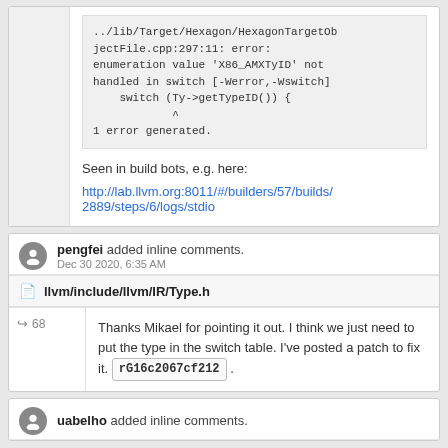../lib/Target/Hexagon/HexagonTargetObjectFile.cpp:297:11: error: enumeration value 'X86_AMXTyID' not handled in switch [-Werror,-Wswitch]
    switch (Ty->getTypeID()) {
            ^
1 error generated.
Seen in build bots, e.g. here:
http://lab.llvm.org:8011/#/builders/57/builds/2889/steps/6/logs/stdio
pengfei added inline comments.
Dec 30 2020, 6:35 AM
llvm/include/llvm/IR/Type.h
68
Thanks Mikael for pointing it out. I think we just need to put the type in the switch table. I've posted a patch to fix it. rG16c2067cf212 .
uabelho added inline comments.